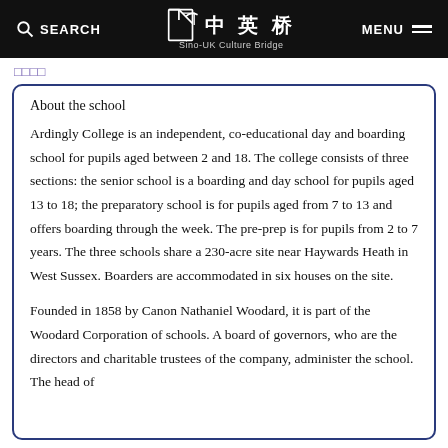SEARCH  中英桥 Sino-UK Culture Bridge  MENU
□□□□
About the school
Ardingly College is an independent, co-educational day and boarding school for pupils aged between 2 and 18. The college consists of three sections: the senior school is a boarding and day school for pupils aged 13 to 18; the preparatory school is for pupils aged from 7 to 13 and offers boarding through the week. The pre-prep is for pupils from 2 to 7 years. The three schools share a 230-acre site near Haywards Heath in West Sussex. Boarders are accommodated in six houses on the site.
Founded in 1858 by Canon Nathaniel Woodard, it is part of the Woodard Corporation of schools. A board of governors, who are the directors and charitable trustees of the company, administer the school. The head of